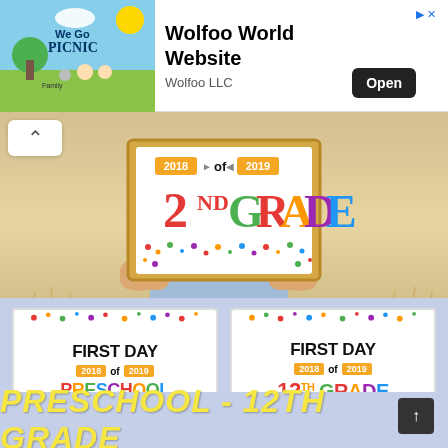[Figure (screenshot): Advertisement banner for Wolfoo World Website by Wolfoo LLC with an animated cartoon picnic scene image on the left, app title and Open button on the right]
Wolfoo World Website
Wolfoo LLC
[Figure (photo): Child holding a colorful sign reading '2018 of 2019 FIRST DAY 2ND GRADE' with confetti dots, sitting in a wheat field]
[Figure (illustration): First Day of School sign card for Preschool, 2018-2019 school year, with colorful text and confetti dots]
[Figure (illustration): First Day of School sign card for 12th Grade, 2018-2019 school year, with colorful text and confetti dots]
PRESCHOOL - 12TH GRADE